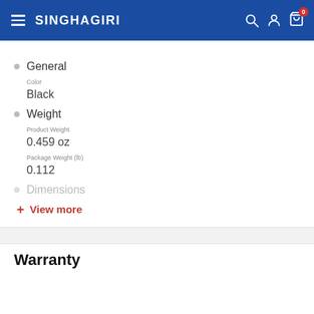SINGHAGIRI
General
Color
Black
Weight
Product Weight
0.459 oz
Package Weight (lb)
0.112
Dimensions
+ View more
Warranty